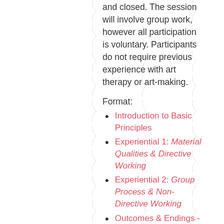and closed. The session will involve group work, however all participation is voluntary. Participants do not require previous experience with art therapy or art-making.
Format:
Introduction to Basic Principles
Experiential 1: Material Qualities & Directive Working
Experiential 2: Group Process & Non-Directive Working
Outcomes & Endings - includes client film
This training includes:
A Basic Principles booklet
Full use of all art materials